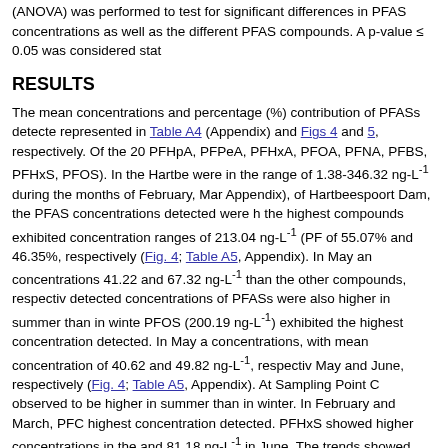(ANOVA) was performed to test for significant differences in PFAS concentrations as well as the different PFAS compounds. A p-value ≤ 0.05 was considered statistically significant.
RESULTS
The mean concentrations and percentage (%) contribution of PFASs detected are represented in Table A4 (Appendix) and Figs 4 and 5, respectively. Of the 20 PFAS analytes (PFHpA, PFPeA, PFHxA, PFOA, PFNA, PFBS, PFHxS, PFOS). In the Hartbeespoort Dam, PFAS concentrations were in the range of 1.38-346.32 ng-L⁻¹ during the months of February, March and June (Table A5, Appendix), of Hartbeespoort Dam, the PFAS concentrations detected were higher in summer, the highest compounds exhibited concentration ranges of 213.04 ng-L⁻¹ (PFOA) and had contributions of 55.07% and 46.35%, respectively (Fig. 4; Table A5, Appendix). In May and June, PFOA and PFOS had concentrations 41.22 and 67.32 ng-L⁻¹ than the other compounds, respectively. The detected concentrations of PFASs were also higher in summer than in winter. In February and March, PFOS (200.19 ng-L⁻¹) exhibited the highest concentration detected. In May and June, PFOA had higher concentrations, with mean concentration of 40.62 and 49.82 ng-L⁻¹, respectively. PFOS had the highest concentrations in May and June, respectively (Fig. 4; Table A5, Appendix). At Sampling Point C, concentrations were observed to be higher in summer than in winter. In February and March, PFOA exhibited the highest concentration detected. PFHxS showed higher concentrations in the range of 200.19 ng-L⁻¹ and 81.18 ng-L⁻¹ in June. The trends showed high concentrations of the PFAS compounds from February and March to June at all sampling points. Sampling Point C showed the highest concentrations compared to Sampling Point B. The same trend was observed in summer and winter. PFPeA showed the lowest concentrations at all sampling points across all the months, except in June for Sampling Point B.